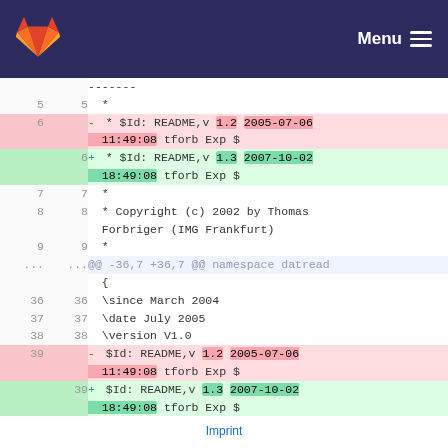GitLab logo | Menu
| old | new | code |
| --- | --- | --- |
|  |  | ------- |
| 5 | 5 |   * |
| 6 |  | - * $Id: README,v 1.2 2005-07-06 11:49:08 tforb Exp $ |
|  | 6 | + * $Id: README,v 1.3 2007-10-02 18:49:08 tforb Exp $ |
| 7 | 7 |   * |
| 8 | 8 |   * Copyright (c) 2002 by Thomas Forbriger (IMG Frankfurt) |
| 9 | 9 |   * |
| ... | ... | @@ -36,7 +36,7 @@ namespace datread |
|  |  | { |
| 36 | 36 |   \since March 2004 |
| 37 | 37 |   \date July 2005 |
| 38 | 38 |   \version V1.0 |
| 39 |  | - $Id: README,v 1.2 2005-07-06 11:49:08 tforb Exp $ |
|  | 39 | + $Id: README,v 1.3 2007-10-02 18:49:08 tforb Exp $ |
Imprint